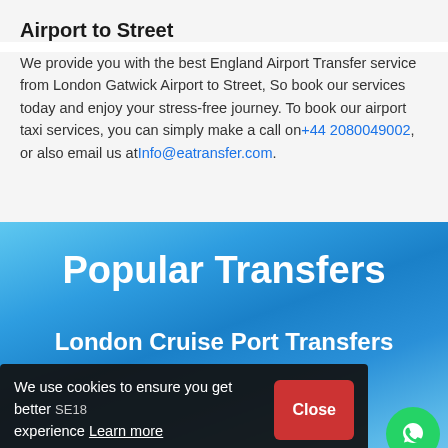Airport to Street
We provide you with the best England Airport Transfer service from London Gatwick Airport to Street, So book our services today and enjoy your stress-free journey. To book our airport taxi services, you can simply make a call on +44 2080049002, or also email us at Info@eatransfer.com.
Popular Transfers
London Cruise Port Transfers
We use cookies to ensure you get better experience Learn more
Tilbury Cruise Port To Kirkby In Furness